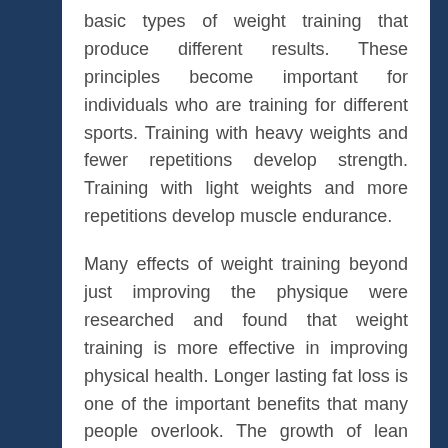basic types of weight training that produce different results. These principles become important for individuals who are training for different sports. Training with heavy weights and fewer repetitions develop strength. Training with light weights and more repetitions develop muscle endurance.
Many effects of weight training beyond just improving the physique were researched and found that weight training is more effective in improving physical health. Longer lasting fat loss is one of the important benefits that many people overlook. The growth of lean muscle tissue increases the rate of calorie burn during rest and during activity. Muscles require more calories to maintain and